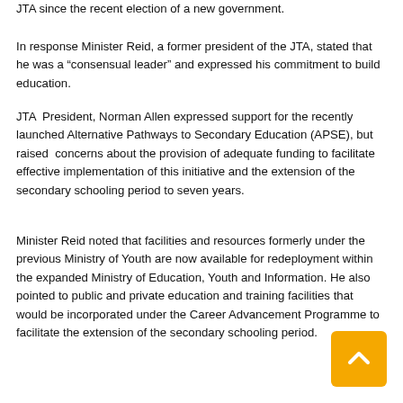JTA since the recent election of a new government.
In response Minister Reid, a former president of the JTA, stated that he was a “consensual leader” and expressed his commitment to build education.
JTA President, Norman Allen expressed support for the recently launched Alternative Pathways to Secondary Education (APSE), but raised concerns about the provision of adequate funding to facilitate effective implementation of this initiative and the extension of the secondary schooling period to seven years.
Minister Reid noted that facilities and resources formerly under the previous Ministry of Youth are now available for redeployment within the expanded Ministry of Education, Youth and Information. He also pointed to public and private education and training facilities that would be incorporated under the Career Advancement Programme to facilitate the extension of the secondary schooling period.